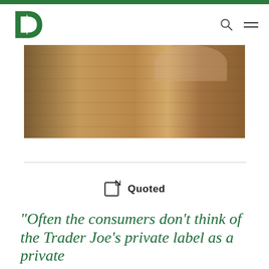[Figure (logo): Dartmouth D logo with pine tree symbol in green and white]
[Figure (photo): Close-up photo of a wooden desk surface with hands visible in the background]
Quoted
“Often the consumers don’t think of the Trader Joe’s private label as a private